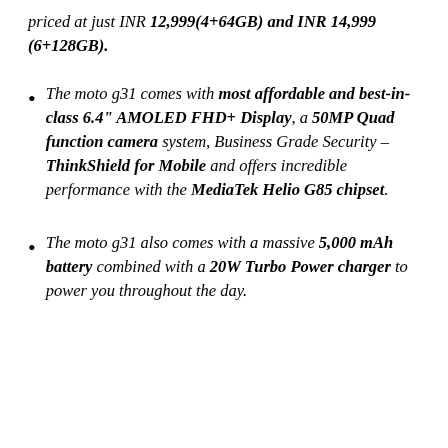priced at just INR 12,999(4+64GB) and INR 14,999 (6+128GB).
The moto g31 comes with most affordable and best-in-class 6.4" AMOLED FHD+ Display, a 50MP Quad function camera system, Business Grade Security – ThinkShield for Mobile and offers incredible performance with the MediaTek Helio G85 chipset.
The moto g31 also comes with a massive 5,000 mAh battery combined with a 20W Turbo Power charger to power you throughout the day.